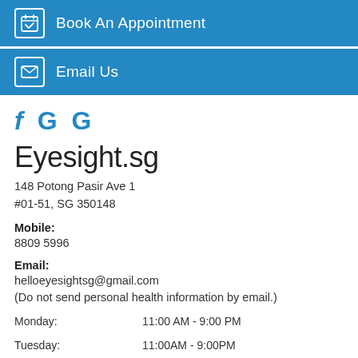Book An Appointment
Email Us
[Figure (logo): Social media icons: Facebook (f), Google (G), Google (G) in blue]
Eyesight.sg
148 Potong Pasir Ave 1
#01-51, SG 350148
Mobile:
8809 5996
Email:
helloeyesightsg@gmail.com
(Do not send personal health information by email.)
Monday: 11:00 AM - 9:00 PM
Tuesday: 11:00AM - 9:00PM
Wednesday: 11:00AM - 9:00PM